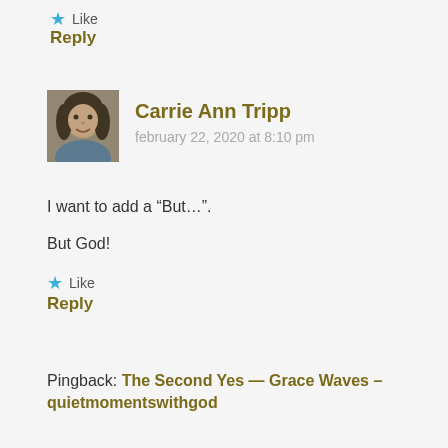★ Like
Reply
[Figure (photo): Avatar photo of Carrie Ann Tripp, a woman with dark hair smiling outdoors]
Carrie Ann Tripp
february 22, 2020 at 8:10 pm
I want to add a “But…”.
But God!
★ Like
Reply
Pingback: The Second Yes — Grace Waves – quietmomentswithgod